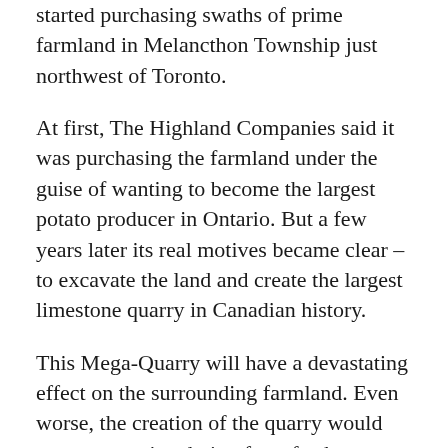started purchasing swaths of prime farmland in Melancthon Township just northwest of Toronto.
At first, The Highland Companies said it was purchasing the farmland under the guise of wanting to become the largest potato producer in Ontario. But a few years later its real motives became clear – to excavate the land and create the largest limestone quarry in Canadian history.
This Mega-Quarry will have a devastating effect on the surrounding farmland. Even worse, the creation of the quarry would cause a massive drain of our fresh water daily.
So, thousands gathered in Woodbine Park on a beautiful Sunday afternoon with the same thought in mind – to protect Ontario's prime